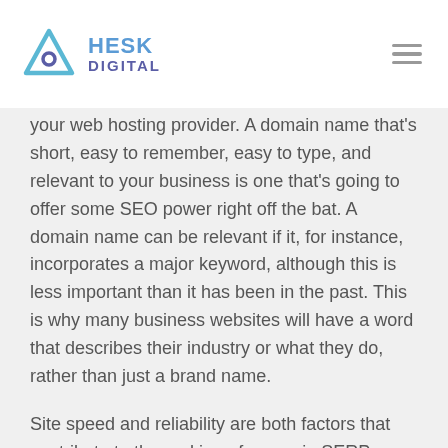HESK DIGITAL
your web hosting provider. A domain name that's short, easy to remember, easy to type, and relevant to your business is one that's going to offer some SEO power right off the bat. A domain name can be relevant if it, for instance, incorporates a major keyword, although this is less important than it has been in the past. This is why many business websites will have a word that describes their industry or what they do, rather than just a brand name.
Site speed and reliability are both factors that contribute to the ranking of pages in SERPs, as